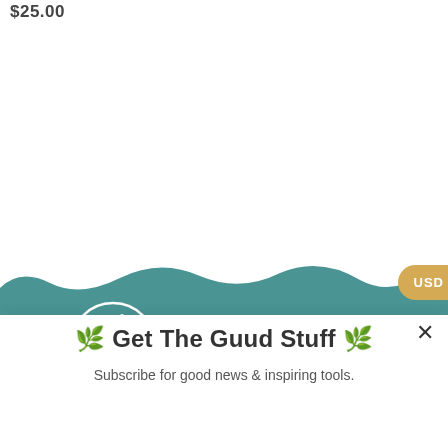$25.00
[Figure (screenshot): USD currency toggle button on right edge, golden/yellow rounded pill button showing 'USD']
[Figure (screenshot): Grey circular plus (+) button on right edge]
[Figure (illustration): Teal/green painted wave background section with white donkey logo in a circle on the left and 'Follow Us' text with social media icons on the right]
[Figure (logo): White donkey head illustration inside a white circle outline on teal background]
Follow Us
🌿 Get The Guud Stuff 🌿
Subscribe for good news & inspiring tools.